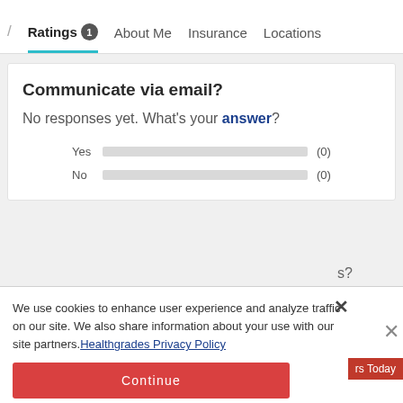/ Ratings 1  About Me  Insurance  Locations
Communicate via email?
No responses yet. What's your answer?
Yes (0)
No (0)
We use cookies to enhance user experience and analyze traffic on our site. We also share information about your use with our site partners. Healthgrades Privacy Policy
Continue
Access my Privacy Preferences